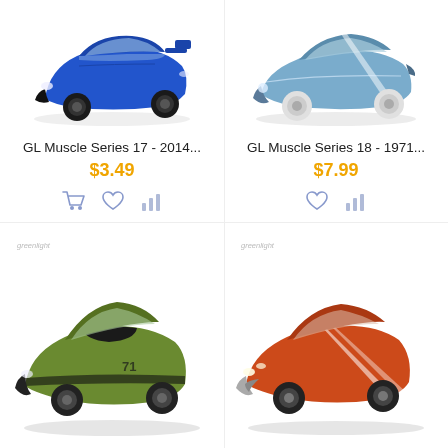[Figure (photo): Blue Nissan GT-R die-cast model car, GL Muscle Series 17 product photo]
GL Muscle Series 17 - 2014...
$3.49
[Figure (photo): Light blue 1971 Chevrolet Camaro die-cast model car, GL Muscle Series 18 product photo]
GL Muscle Series 18 - 1971...
$7.99
[Figure (photo): Green Plymouth Barracuda die-cast model car, bottom left product photo with Greenlight branding]
[Figure (photo): Orange Chevrolet Chevelle die-cast model car, bottom right product photo with Greenlight branding]